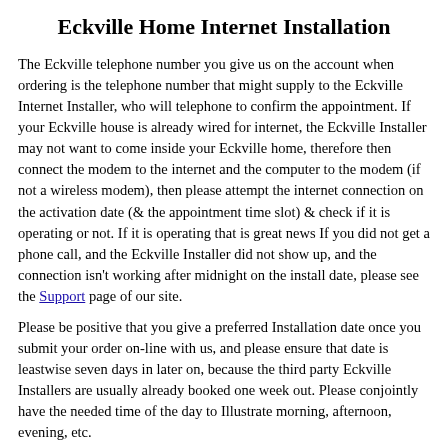Eckville Home Internet Installation
The Eckville telephone number you give us on the account when ordering is the telephone number that might supply to the Eckville Internet Installer, who will telephone to confirm the appointment. If your Eckville house is already wired for internet, the Eckville Installer may not want to come inside your Eckville home, therefore then connect the modem to the internet and the computer to the modem (if not a wireless modem), then please attempt the internet connection on the activation date (& the appointment time slot) & check if it is operating or not. If it is operating that is great news If you did not get a phone call, and the Eckville Installer did not show up, and the connection isn't working after midnight on the install date, please see the Support page of our site.
Please be positive that you give a preferred Installation date once you submit your order on-line with us, and please ensure that date is leastwise seven days in later on, because the third party Eckville Installers are usually already booked one week out. Please conjointly have the needed time of the day to Illustrate morning, afternoon, evening, etc.
Eckville Copyright Violations Statement